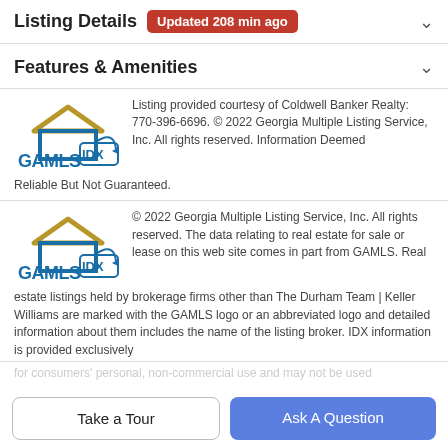Listing Details  Updated 208 min ago
Features & Amenities
[Figure (logo): GAMLS IDX logo - blue house outline with gold roof and blue arrow returning in a box]
Listing provided courtesy of Coldwell Banker Realty: 770-396-6696. © 2022 Georgia Multiple Listing Service, Inc. All rights reserved. Information Deemed Reliable But Not Guaranteed.
[Figure (logo): GAMLS IDX logo - blue house outline with gold roof and blue arrow returning in a box]
© 2022 Georgia Multiple Listing Service, Inc. All rights reserved. The data relating to real estate for sale or lease on this web site comes in part from GAMLS. Real estate listings held by brokerage firms other than The Durham Team | Keller Williams are marked with the GAMLS logo or an abbreviated logo and detailed information about them includes the name of the listing broker. IDX information is provided exclusively
(faded/cut off text)
Take a Tour
Ask A Question